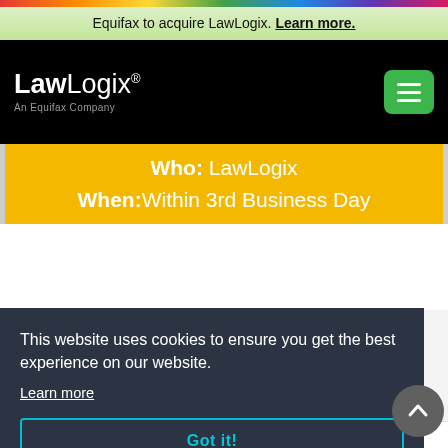Equifax to acquire LawLogix. Learn more.
[Figure (logo): LawLogix - An Equifax Company logo on black background with green menu button]
Who: LawLogix
When:Within 3rd Business Day
This website uses cookies to ensure you get the best experience on our website.
Learn more
Got it!